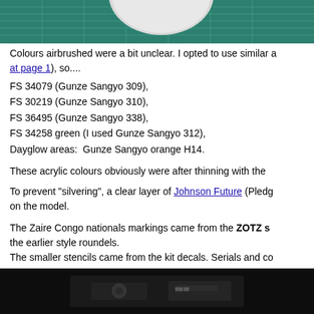[Figure (photo): Top photo showing a white model piece on a green cutting mat background]
Colours airbrushed were a bit unclear. I opted to use similar a[t page 1]), so....
FS 34079 (Gunze Sangyo 309),
FS 30219 (Gunze Sangyo 310),
FS 36495 (Gunze Sangyo 338),
FS 34258 green (I used Gunze Sangyo 312),
Dayglow areas:  Gunze Sangyo orange H14.
These acrylic colours obviously were after thinning with the
To prevent "silvering", a clear layer of Johnson Future (Pledg on the model.
The Zaire Congo nationals markings came from the ZOTZ s the earlier style roundels.
The smaller stencils came from the kit decals. Serials and co
[Figure (photo): Bottom photo showing a dark model or decal detail]